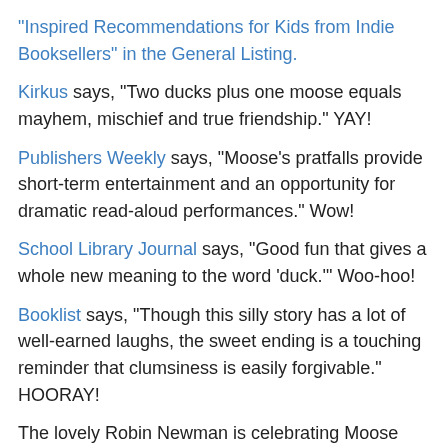“Inspired Recommendations for Kids from Indie Booksellers” in the General Listing.
Kirkus says, “Two ducks plus one moose equals mayhem, mischief and true friendship.” YAY!
Publishers Weekly says, “Moose’s pratfalls provide short-term entertainment and an opportunity for dramatic read-aloud performances.” Wow!
School Library Journal says, “Good fun that gives a whole new meaning to the word ‘duck.’” Woo-hoo!
Booklist says, “Though this silly story has a lot of well-earned laughs, the sweet ending is a touching reminder that clumsiness is easily forgivable.” HOORAY!
The lovely Robin Newman is celebrating Moose Day here.